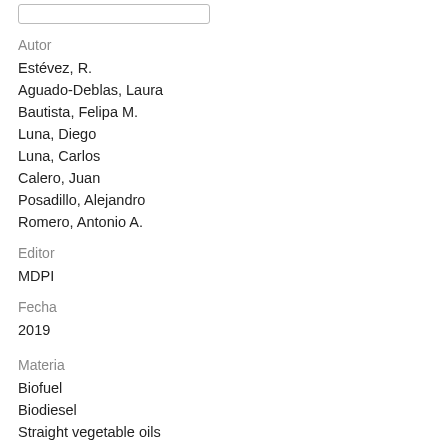Autor
Estévez, R.
Aguado-Deblas, Laura
Bautista, Felipa M.
Luna, Diego
Luna, Carlos
Calero, Juan
Posadillo, Alejandro
Romero, Antonio A.
Editor
MDPI
Fecha
2019
Materia
Biofuel
Biodiesel
Straight vegetable oils